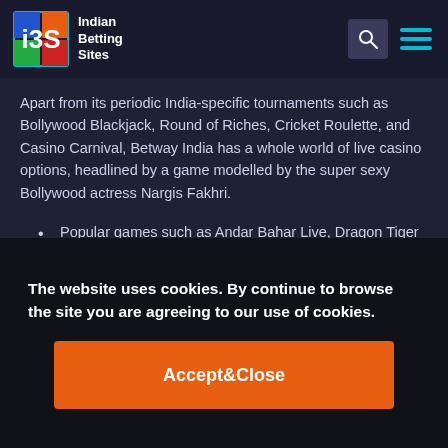Indian Betting Sites
Apart from its periodic India-specific tournaments such as Bollywood Blackjack, Round of Riches, Cricket Roulette, and Casino Carnival, Betway India has a whole world of live casino options, headlined by a game modelled by the super sexy Bollywood actress Nargis Fakhri.
Popular games such as Andar Bahar Live, Dragon Tiger
Roulette
Bollywood-themed casino games
Baccarat, Poker, Blackjack
Game shows such as Side Bet City and Rock Paper Scissors
Betway India has relatively fewer number of games than other
The website uses cookies. By continue to browse the site you are agreeing to our use of cookies.
Accept&Close